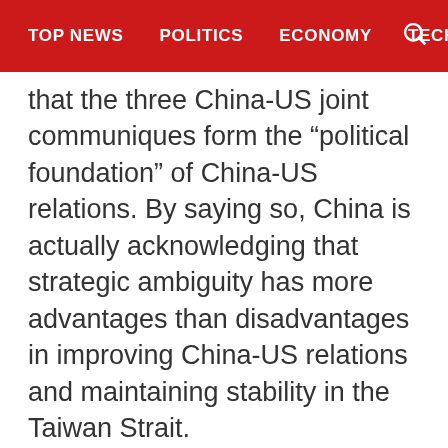TOP NEWS | POLITICS | ECONOMY | TECHNOLOG
that the three China-US joint communiques form the “political foundation” of China-US relations. By saying so, China is actually acknowledging that strategic ambiguity has more advantages than disadvantages in improving China-US relations and maintaining stability in the Taiwan Strait.
However, China and the US have different interpretations of the communique mechanism. Internationally speaking, there are two types of communiques: joint communiques and treaties. The former mainly refers to discussion reports of certain major issues when national leaders or government delegations attend or host state